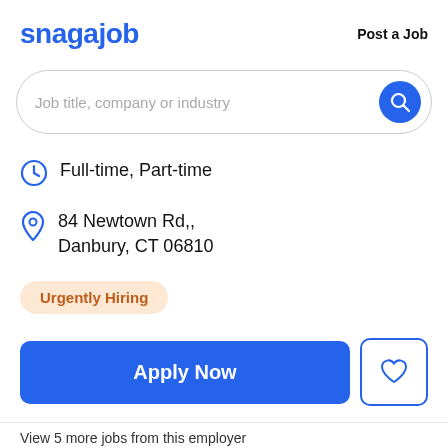snagajob  Post a Job
[Figure (screenshot): Search bar with placeholder text 'Job title, company or industry' and a blue circular search button]
Full-time, Part-time
84 Newtown Rd,, Danbury, CT 06810
Urgently Hiring
Apply Now
View 5 more jobs from this employer